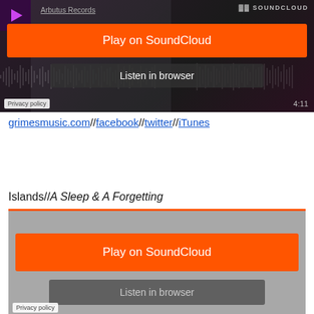[Figure (screenshot): SoundCloud embedded player for Arbutus Records track, showing orange Play on SoundCloud button, Listen in browser button, waveform background, 4:11 duration, and Privacy policy label]
grimesmusic.com//facebook//twitter//iTunes
Islands//A Sleep & A Forgetting
[Figure (screenshot): SoundCloud embedded player (gray/loading state) with orange top border, orange Play on SoundCloud button, gray Listen in browser button, and Privacy policy label]